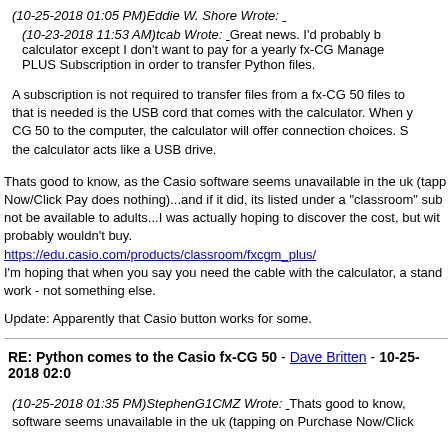(10-25-2018 01:05 PM)Eddie W. Shore Wrote: _
(10-23-2018 11:53 AM)tcab Wrote: _Great news. I'd probably b calculator except I don't want to pay for a yearly fx-CG Manage PLUS Subscription in order to transfer Python files.
A subscription is not required to transfer files from a fx-CG 50 files to that is needed is the USB cord that comes with the calculator. When y CG 50 to the computer, the calculator will offer connection choices. S the calculator acts like a USB drive.
Thats good to know, as the Casio software seems unavailable in the uk (tapp Now/Click Pay does nothing)...and if it did, its listed under a "classroom" sub not be available to adults...I was actually hoping to discover the cost, but wit probably wouldn't buy.
https://edu.casio.com/products/classroom/fxcgm_plus/
I'm hoping that when you say you need the cable with the calculator, a stand work - not something else.
Update: Apparently that Casio button works for some.
RE: Python comes to the Casio fx-CG 50 - Dave Britten - 10-25-2018 02:0
(10-25-2018 01:35 PM)StephenG1CMZ Wrote: _Thats good to know, software seems unavailable in the uk (tapping on Purchase Now/Click